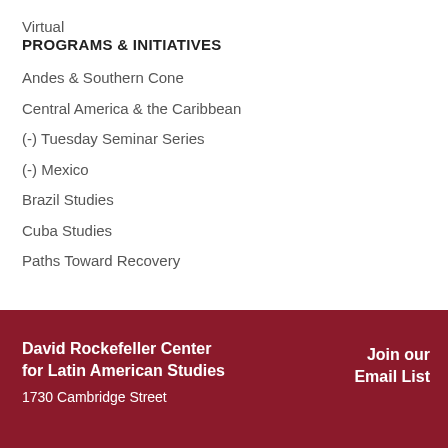Virtual
PROGRAMS & INITIATIVES
Andes & Southern Cone
Central America & the Caribbean
(-) Tuesday Seminar Series
(-) Mexico
Brazil Studies
Cuba Studies
Paths Toward Recovery
David Rockefeller Center for Latin American Studies
1730 Cambridge Street
Join our Email List